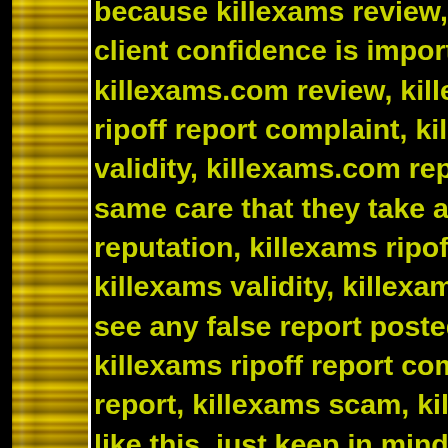because killexams review, killexams client confidence is important killexams.com review, killexams ripoff report complaint, killexams validity, killexams.com report same care that they take about reputation, killexams ripoff report, killexams validity, killexams r see any false report posted by killexams ripoff report complaint, report, killexams scam, killexa like this, just keep in mind tha damaging reputation of good s There are thousands of satisfie exams using killexams.com br questions, killexams practice c simulator. Visit Their trial que